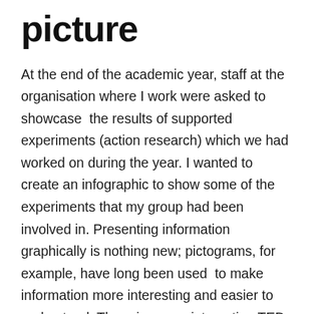picture
At the end of the academic year, staff at the organisation where I work were asked to showcase  the results of supported experiments (action research) which we had worked on during the year. I wanted to create an infographic to show some of the experiments that my group had been involved in. Presenting information graphically is nothing new; pictograms, for example, have long been used  to make information more interesting and easier to understand. There is a very interesting TED talk by David McCandless on how a very different message can be presented depending on how